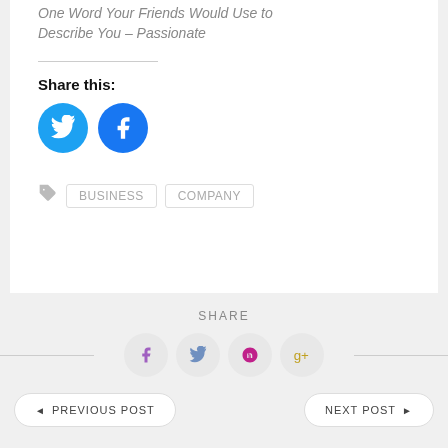One Word Your Friends Would Use to Describe You – Passionate
Share this:
[Figure (infographic): Twitter and Facebook round social share buttons in blue]
BUSINESS
COMPANY
SHARE
[Figure (infographic): Facebook, Twitter, Pinterest, Google+ round social share buttons in light grey]
PREVIOUS POST
NEXT POST